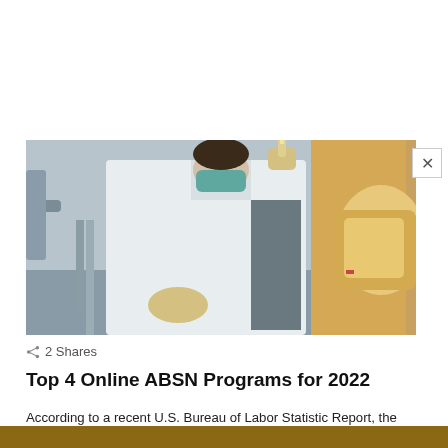[Figure (photo): A healthcare worker in a white lab coat and surgical mask, wearing gloves, holding up a vial or sample in a laboratory setting with medical equipment visible.]
2 Shares
Top 4 Online ABSN Programs for 2022
According to a recent U.S. Bureau of Labor Statistic Report, the rate of the nursing job outlook has seen a 13% improvement in recent years. Thus, undertaking an online Accelerated Bachelor of Science in Nursing (ABSN) program is imperative if you intend to work towards becoming a fully-fledged nurse. The online program prepares you to [...] More